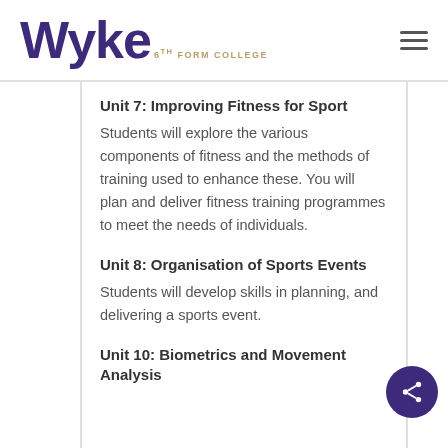[Figure (logo): Wyke 6th Form College logo with large purple bold text 'Wyke' and smaller text '6th Form College' below]
Unit 7: Improving Fitness for Sport
Students will explore the various components of fitness and the methods of training used to enhance these. You will plan and deliver fitness training programmes to meet the needs of individuals.
Unit 8: Organisation of Sports Events
Students will develop skills in planning, and delivering a sports event.
Unit 10: Biometrics and Movement Analysis